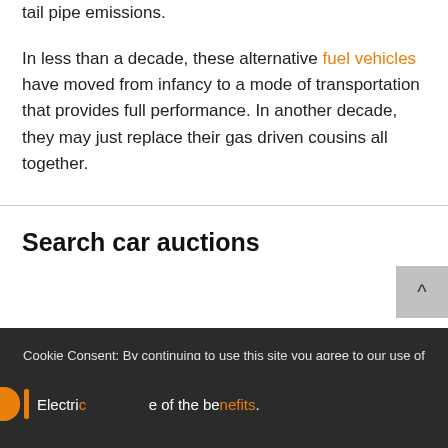tail pipe emissions.
In less than a decade, these alternative fuel vehicles have moved from infancy to a mode of transportation that provides full performance. In another decade, they may just replace their gas driven cousins all together.
Search car auctions
Cookie Consent: By continuing to use this site you agree to our use of cookies. Privacy Policy
Electric ... of the benefits.